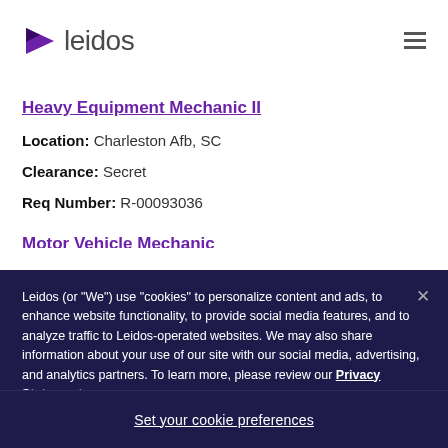[Figure (logo): Leidos company logo with purple triangle/arrow icon and 'leidos' wordmark in gray]
Heavy Equipment Mechanic II
Location: Charleston Afb, SC
Clearance: Secret
Req Number: R-00093036
Motor Vehicle Mechanic (partial, cut off by overlay)
Leidos (or “We”) use “cookies” to personalize content and ads, to enhance website functionality, to provide social media features, and to analyze traffic to Leidos-operated websites. We may also share information about your use of our site with our social media, advertising, and analytics partners. To learn more, please review our Privacy Statement.
Set your cookie preferences